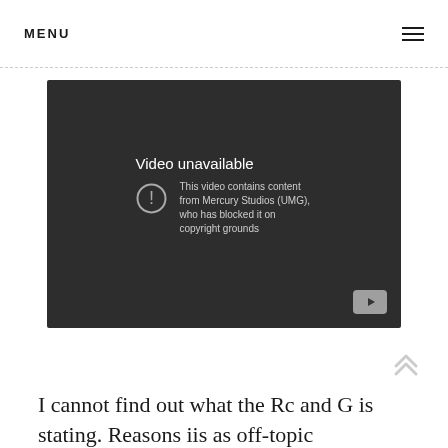MENU
[Figure (screenshot): Embedded YouTube video player showing 'Video unavailable' error message. Dark background with warning icon and text: 'This video contains content from Mercury Studios (UMG), who has blocked it on copyright grounds'. YouTube play button visible in bottom-right corner.]
I cannot find out what the Rc and G is stating. Reasons iis as off-topic